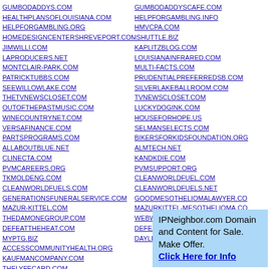GUMBODADDYS.COM
HEALTHPLANSOFLOUISIANA.COM
HELPFORGAMBLING.ORG
HOMEDESIGNCENTERSHREVEPORT.COM
JIMWILLI.COM
LAPRODUCERS.NET
MONTCLAIR-PARK.COM
PATRICKTUBBS.COM
SEEWILLOWLAKE.COM
THETVNEWSCLOSET.COM
OUTOFTHEPASTMUSIC.COM
WINECOUNTRYNET.COM
VERSAFINANCE.COM
PARTSPROGRAMS.COM
ALLABOUTBLUE.NET
CLINECTA.COM
PVMCAREERS.ORG
TKMOLDENG.COM
CLEANWORLDFUELS.COM
GENERATIONSFUNERALSERVICE.COM
MAZUR-KITTEL.COM
THEDAMONEGROUP.COM
DEFEATTHEHEAT.COM
MYPTG.BIZ
ACCESSCOMMUNITYHEALTH.ORG
KAUFMANCOMPANY.COM
THELYFECARD.COM
MYVANILLABALANCE.COM
GUMBODADDYSCAFE.COM
HELPFORGAMBLING.INFO
HMVCPA.COM
ISHUTTLE.BIZ
KAPLITZBLOG.COM
LOUISIANAINFRARED.COM
MULTI-FACTS.COM
PRUDENTIALPREFERREDSB.COM
SILVERLAKEBALLROOM.COM
TVNEWSCLOSET.COM
LUCKYDOGINK.COM
HOUSEFORHOPE.US
SELMANSELECTS.COM
BIKERSFORKIDSFOUNDATION.ORG
ALMTECH.NET
KANDKDIE.COM
PVMSUPPORT.ORG
CLEANWORLDFUEL.COM
CLEANWORLDFUELS.NET
GOODMESOTHELIOMALAWYER.COM
MAZURKITTEL-MESOTHELIOMA.COM
WEBWASTETRACKING.COM
DEFEATTHEHEAT.NET
DAYLIOFFING.COM
IPNeighbor.com Domain and Content for Sale. Make Offer. Click Here for Info